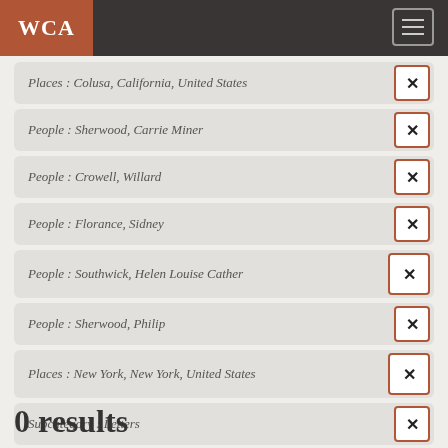WCA
Places : Colusa, California, United States
People : Sherwood, Carrie Miner
People : Crowell, Willard
People : Florance, Sidney
People : Southwick, Helen Louise Cather
People : Sherwood, Philip
Places : New York, New York, United States
Subcategory : Letters
0 results